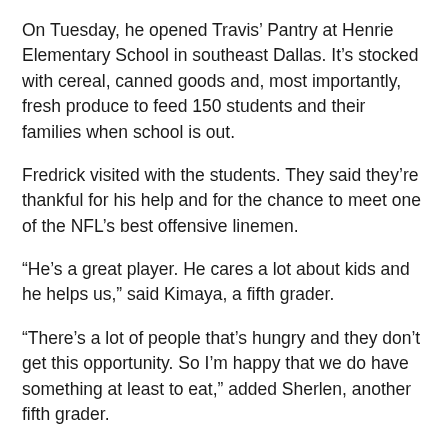On Tuesday, he opened Travis' Pantry at Henrie Elementary School in southeast Dallas. It's stocked with cereal, canned goods and, most importantly, fresh produce to feed 150 students and their families when school is out.
Fredrick visited with the students. They said they're thankful for his help and for the chance to meet one of the NFL's best offensive linemen.
“He’s a great player. He cares a lot about kids and he helps us,” said Kimaya, a fifth grader.
“There’s a lot of people that’s hungry and they don’t get this opportunity. So I’m happy that we do have something at least to eat,” added Sherlen, another fifth grader.